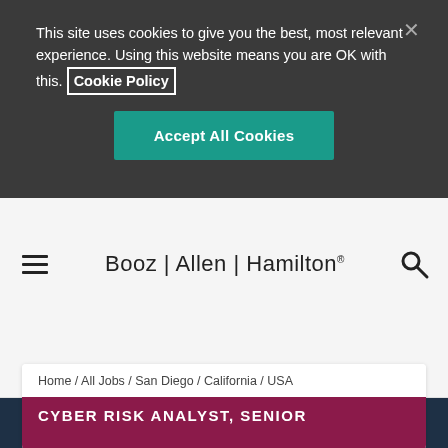This site uses cookies to give you the best, most relevant experience. Using this website means you are OK with this. Cookie Policy
Accept All Cookies
[Figure (logo): Booz | Allen | Hamilton® wordmark logo centered in navigation bar]
Home / All Jobs / San Diego / California / USA
CYBER RISK ANALYST, SENIOR